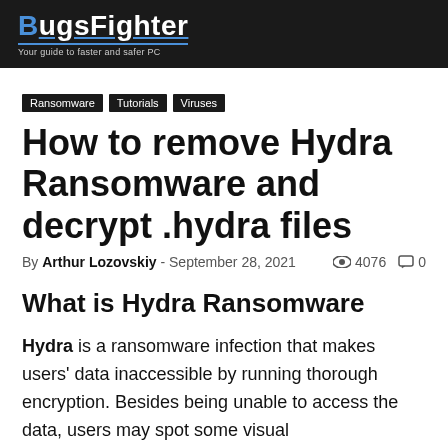BugsFighter — Your guide to faster and safer PC
Ransomware  Tutorials  Viruses
How to remove Hydra Ransomware and decrypt .hydra files
By Arthur Lozovskiy - September 28, 2021  👁 4076  💬 0
What is Hydra Ransomware
Hydra is a ransomware infection that makes users' data inaccessible by running thorough encryption. Besides being unable to access the data, users may spot some visual